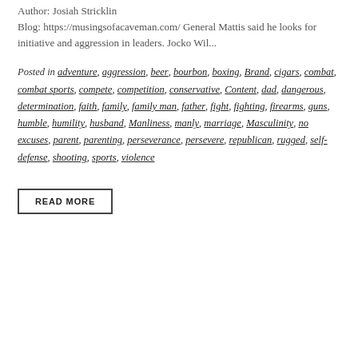Author: Josiah Stricklin
Blog: https://musingsofacaveman.com/ General Mattis said he looks for initiative and aggression in leaders. Jocko Wil...
Posted in adventure, aggression, beer, bourbon, boxing, Brand, cigars, combat, combat sports, compete, competition, conservative, Content, dad, dangerous, determination, faith, family, family man, father, fight, fighting, firearms, guns, humble, humility, husband, Manliness, manly, marriage, Masculinity, no excuses, parent, parenting, perseverance, persevere, republican, rugged, self-defense, shooting, sports, violence
READ MORE